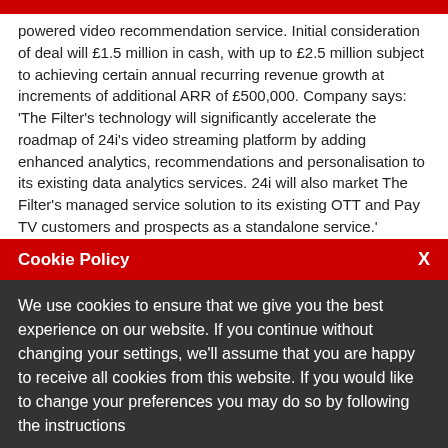powered video recommendation service. Initial consideration of deal will £1.5 million in cash, with up to £2.5 million subject to achieving certain annual recurring revenue growth at increments of additional ARR of £500,000. Company says: 'The Filter's technology will significantly accelerate the roadmap of 24i's video streaming platform by adding enhanced analytics, recommendations and personalisation to its existing data analytics services. 24i will also market The Filter's managed service solution to its existing OTT and Pay TV customers and prospects as a standalone service.'
----------
Glantus Holdings PLC - Dublin-based accounts payable automation and analytics - Agrees new partnership with TealBook, a supplier data
Cookie Policy
We use cookies to ensure that we give you the best experience on our website. If you continue without changing your settings, we'll assume that you are happy to receive all cookies from this website. If you would like to change your preferences you may do so by following the instructions